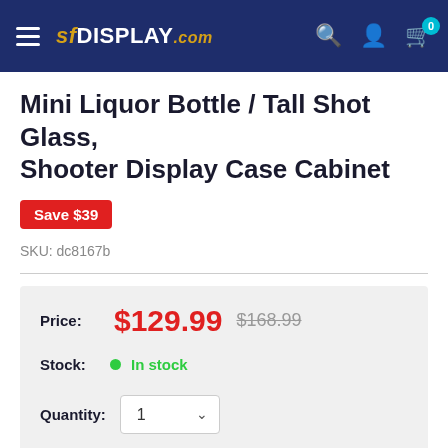sfdisplay.com
Mini Liquor Bottle / Tall Shot Glass, Shooter Display Case Cabinet
Save $39
SKU: dc8167b
Price: $129.99 $168.99
Stock: In stock
Quantity: 1